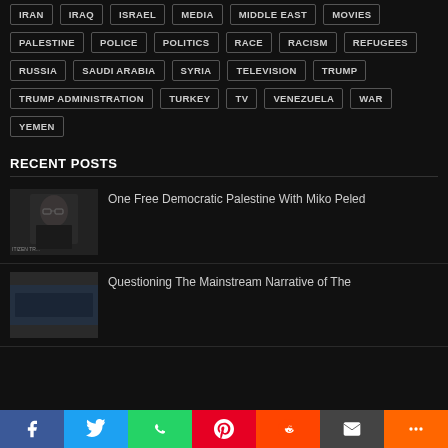IRAN
IRAQ
ISRAEL
MEDIA
MIDDLE EAST
MOVIES
PALESTINE
POLICE
POLITICS
RACE
RACISM
REFUGEES
RUSSIA
SAUDI ARABIA
SYRIA
TELEVISION
TRUMP
TRUMP ADMINISTRATION
TURKEY
TV
VENEZUELA
WAR
YEMEN
RECENT POSTS
One Free Democratic Palestine With Miko Peled
Questioning The Mainstream Narrative of The...